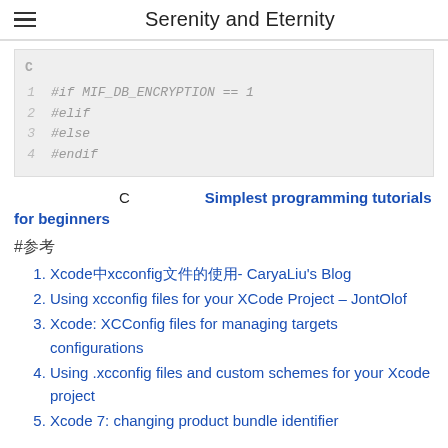Serenity and Eternity
[Figure (screenshot): Code block in C language showing preprocessor directives: #if MIF_DB_ENCRYPTION == 1, #elif, #else, #endif with line numbers 1-4]
C　　　　　Simplest programming tutorials for beginners
#参考
Xcode中xcconfig文件的使用- CaryaLiu's Blog
Using xcconfig files for your XCode Project – JontOlof
Xcode: XCConfig files for managing targets configurations
Using .xcconfig files and custom schemes for your Xcode project
Xcode 7: changing product bundle identifier